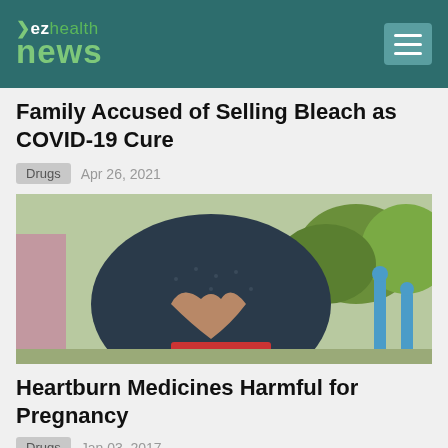ez health news
Family Accused of Selling Bleach as COVID-19 Cure
Drugs   Apr 26, 2021
[Figure (photo): Pregnant woman making a heart shape with her hands over her belly, outdoors]
Heartburn Medicines Harmful for Pregnancy
Drugs   Jan 03, 2017
[Figure (photo): Partially visible image at bottom of page, appears to be medical related]